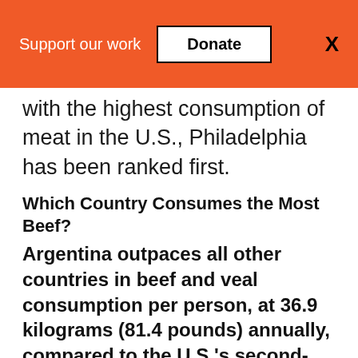Support our work   Donate   X
with the highest consumption of meat in the U.S., Philadelphia has been ranked first.
Which Country Consumes the Most Beef?
Argentina outpaces all other countries in beef and veal consumption per person, at 36.9 kilograms (81.4 pounds) annually, compared to the U.S.'s second-place consumption rate of 26.1 kilograms (57.5 pounds).
Why Do Americans Eat So Much Beef?